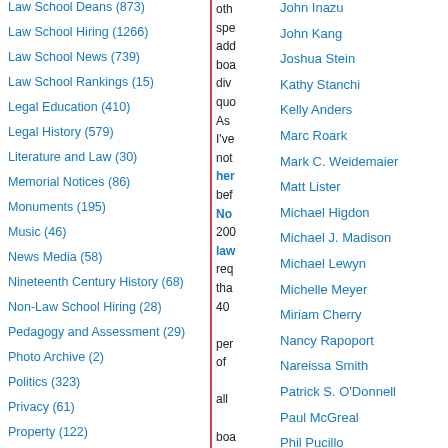Law School Deans (873)
Law School Hiring (1266)
Law School News (739)
Law School Rankings (15)
Legal Education (410)
Legal History (579)
Literature and Law (30)
Memorial Notices (86)
Monuments (195)
Music (46)
News Media (58)
Nineteenth Century History (68)
Non-Law School Hiring (28)
Pedagogy and Assessment (29)
Photo Archive (2)
Politics (323)
Privacy (61)
Property (122)
other speakers addressed boards diverse questions. As I've noted here before, No 200 law requires that 40 percent of all board seats at state...
John Inazu
John Kang
Joshua Stein
Kathy Stanchi
Kelly Anders
Marc Roark
Mark C. Weidemaier
Matt Lister
Michael Higdon
Michael J. Madison
Michael Lewyn
Michelle Meyer
Miriam Cherry
Nancy Rapoport
Nareissa Smith
Patrick S. O'Donnell
Paul McGreal
Phil Pucillo